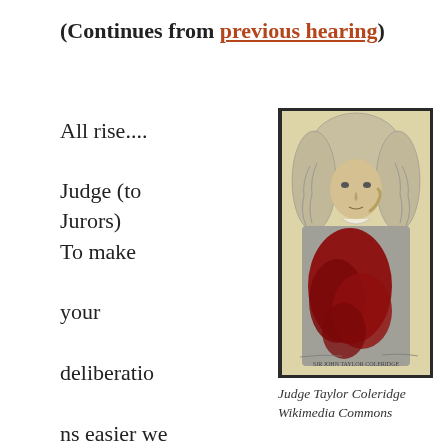(Continues from previous hearing)
All rise....
Judge (to Jurors) To make your deliberations easier we will take the Charges one at a
[Figure (illustration): Black and white engraved portrait of Sir John Taylor Coleridge in judicial wig and robes, with a dark red splash overlay on the robes area. Caption at bottom reads 'SIR JOHN TAYLOR COLERIDGE'.]
Judge Taylor Coleridge Wikimedia Commons